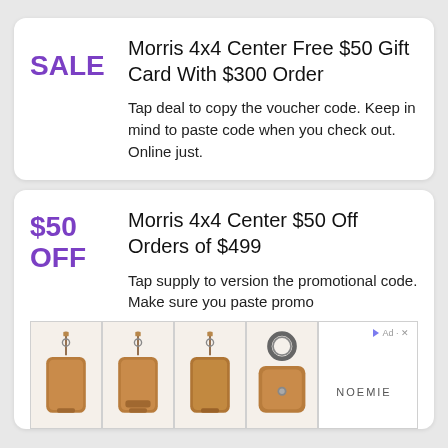Morris 4x4 Center Free $50 Gift Card With $300 Order
Tap deal to copy the voucher code. Keep in mind to paste code when you check out. Online just.
Morris 4x4 Center $50 Off Orders of $499
Tap supply to version the promotional code. Make sure you paste promo...
[Figure (photo): Advertisement banner showing brown leather crossbody phone cases and a leather keyring pouch, with Noemie brand label]